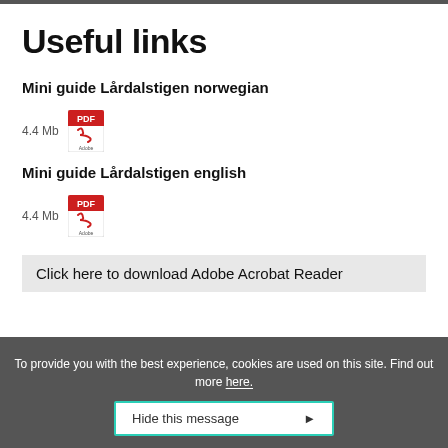Useful links
Mini guide Lårdalstigen norwegian
4.4 Mb
Mini guide Lårdalstigen english
4.4 Mb
Click here to download Adobe Acrobat Reader
To provide you with the best experience, cookies are used on this site. Find out more here.
Hide this message ►